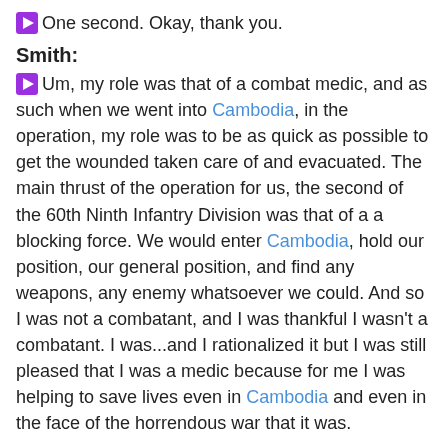▶ One second. Okay, thank you.
Smith:
▶ Um, my role was that of a combat medic, and as such when we went into Cambodia, in the operation, my role was to be as quick as possible to get the wounded taken care of and evacuated. The main thrust of the operation for us, the second of the 60th Ninth Infantry Division was that of a a blocking force. We would enter Cambodia, hold our position, our general position, and find any weapons, any enemy whatsoever we could. And so I was not a combatant, and I was thankful I wasn't a combatant. I was...and I rationalized it but I was still pleased that I was a medic because for me I was helping to save lives even in Cambodia and even in the face of the horrendous war that it was.